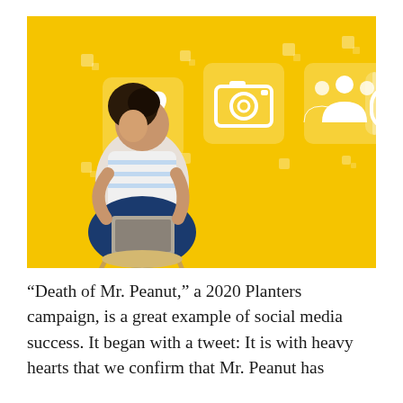[Figure (photo): A young woman sitting cross-legged on a stool against a bright yellow background, holding a laptop, looking upward at floating social media icons (heart, camera, people/group, speech bubble with dots, star) displayed as white outlined icons on semi-transparent yellow square tiles.]
“Death of Mr. Peanut,” a 2020 Planters campaign, is a great example of social media success. It began with a tweet: It is with heavy hearts that we confirm that Mr. Peanut has